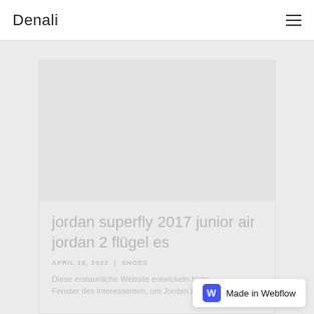Denali
[Figure (photo): Gray placeholder image area inside a card on a light gray background]
jordan superfly 2017 junior air jordan 2 flügel es
APRIL 18, 2022 | SHOES
Diese erstaunliche Website entwickeln biete Fenster des Interessenten, um Jordan zu lern...